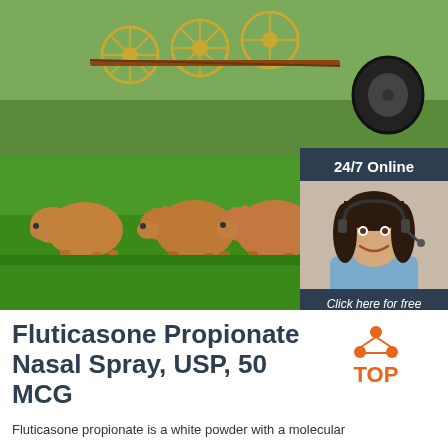[Figure (photo): Farm scene with calves/young cattle standing on green grass with agricultural equipment in background; overlay chat widget with '24/7 Online', female customer service agent photo, 'Click here for free chat!' text, and orange QUOTATION button]
Fluticasone Propionate Nasal Spray, USP, 50 MCG
[Figure (logo): Orange TOP badge/logo with triangle of dots above text TOP]
Fluticasone propionate is a white powder with a molecular